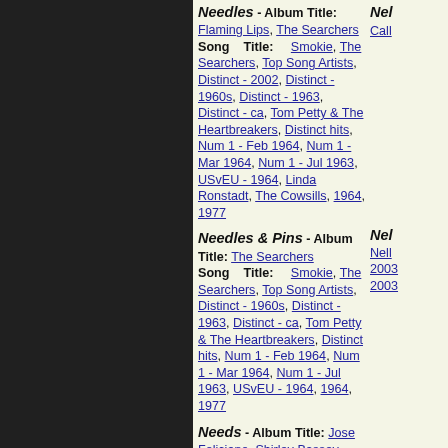Needles - Album Title: Flaming Lips, The Searchers
Song Title: Smokie, The Searchers, Top Song Artists, Distinct - 2002, Distinct - 1960s, Distinct - 1963, Distinct - ca, Tom Petty & The Heartbreakers, Distinct hits, Num 1 - Feb 1964, Num 1 - Mar 1964, Num 1 - Jul 1963, USvEU - 1964, Linda Ronstadt, The Cowsills, 1964, 1977
Needles & Pins - Album Title: The Searchers
Song Title: Smokie, The Searchers, Top Song Artists, Distinct - 1960s, Distinct - 1963, Distinct - ca, Tom Petty & The Heartbreakers, Distinct hits, Num 1 - Feb 1964, Num 1 - Mar 1964, Num 1 - Jul 1963, USvEU - 1964, 1964, 1977
Needs - Album Title: Jose Feliciano, Shirley Bassey, Jack Jones, Brad Paisley, 1961, One hit albums, Megadeth, The Blues